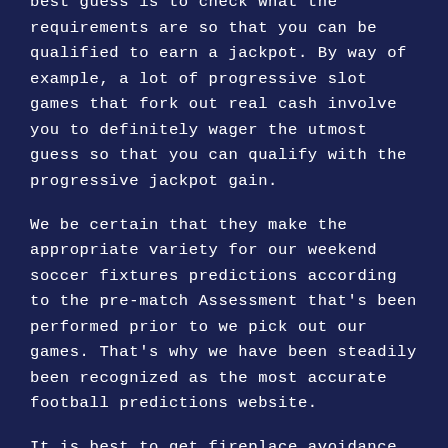best guess is to check what the requirements are so that you can be qualified to earn a jackpot. By way of example, a lot of progressive slot games that fork out real cash involve you to definitely wager the utmost guess so that you can qualify with the progressive jackpot gain.
We be certain that they make the appropriate variety for our weekend soccer fixtures predictions according to the pre-match Assessment that's been performed prior to we pick out our games. That's why we have been steadily been recognized as the most accurate football predictions website.
It is best to get fireplace avoidance asap in a yamato while taking part in izumo you figured out allready that you choose to virtually every time spotted and as soon